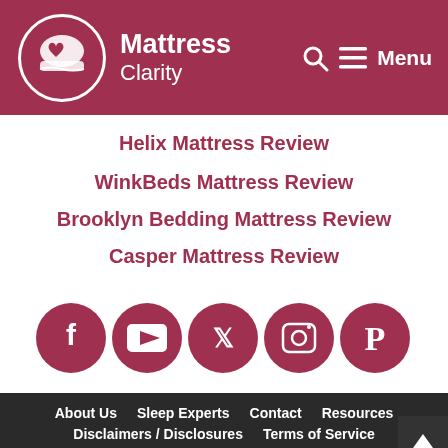Mattress Clarity — Menu
Helix Mattress Review
WinkBeds Mattress Review
Brooklyn Bedding Mattress Review
Casper Mattress Review
[Figure (illustration): Row of 5 social media icon circles (Facebook, YouTube, Twitter, Instagram, Pinterest) in dark red/maroon color]
About Us   Sleep Experts   Contact   Resources   Disclaimers / Disclosures   Terms of Service   Privacy Policy   Do Not Sell My Info   Cookie Policy